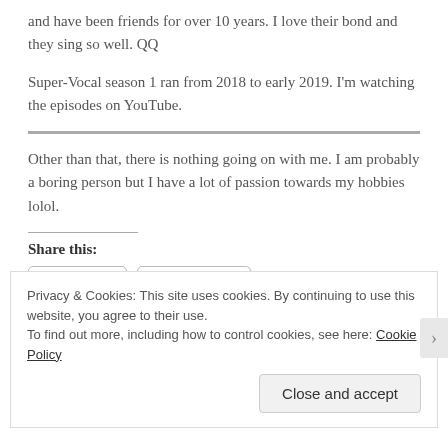and have been friends for over 10 years. I love their bond and they sing so well. QQ
Super-Vocal season 1 ran from 2018 to early 2019. I'm watching the episodes on YouTube.
Other than that, there is nothing going on with me. I am probably a boring person but I have a lot of passion towards my hobbies lolol.
Share this:
Privacy & Cookies: This site uses cookies. By continuing to use this website, you agree to their use.
To find out more, including how to control cookies, see here: Cookie Policy